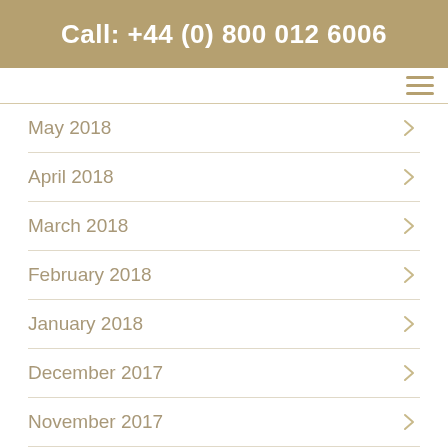Call: +44 (0) 800 012 6006
May 2018
April 2018
March 2018
February 2018
January 2018
December 2017
November 2017